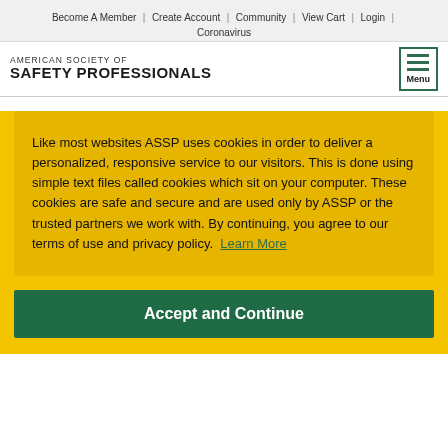Become A Member | Create Account | Community | View Cart | Login | Coronavirus
AMERICAN SOCIETY OF SAFETY PROFESSIONALS
Like most websites ASSP uses cookies in order to deliver a personalized, responsive service to our visitors. This is done using simple text files called cookies which sit on your computer. These cookies are safe and secure and are used only by ASSP or the trusted partners we work with. By continuing, you agree to our terms of use and privacy policy. Learn More
Accept and Continue